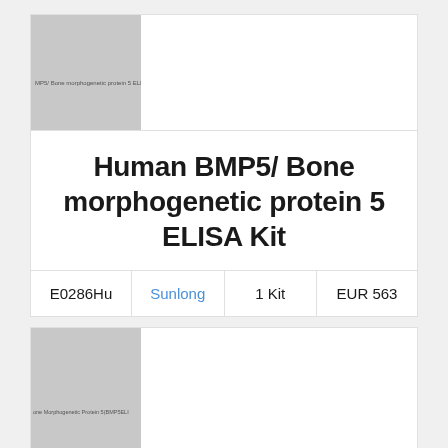[Figure (photo): Product image placeholder for Human BMP5 Bone morphogenetic protein 5 ELISA Kit, gray rectangle with small text label]
Human BMP5/ Bone morphogenetic protein 5 ELISA Kit
| E0286Hu | Sunlong | 1 Kit | EUR 563 |
| --- | --- | --- | --- |
[Figure (photo): Product image placeholder for Human Bone Morphogenetic Protein 5 ELISA Kit, gray rectangle with small text label]
Human Bone Morphogenetic Protein 5